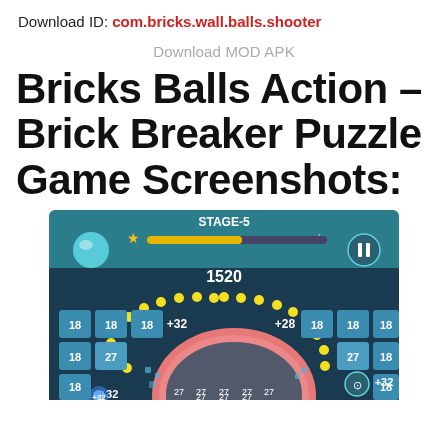Download ID: com.bricks.wall.balls.shooter
Download MOD APK
Bricks Balls Action – Brick Breaker Puzzle Game Screenshots:
[Figure (screenshot): Screenshot of Bricks Balls Action game showing STAGE-5, score 1520, brick grid with values 18 and 27, +32 and +28 bonus indicators, yellow dotted ball trail arc, and a large pink circular bumper in the center.]